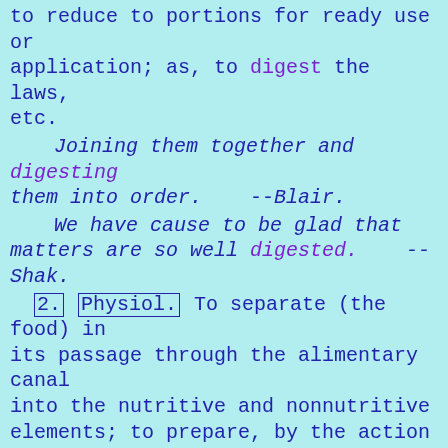to reduce to portions for ready use or application; as, to digest the laws, etc.
Joining them together and digesting them into order. --Blair.
We have cause to be glad that matters are so well digested. --Shak.
2. Physiol. To separate (the food) in its passage through the alimentary canal into the nutritive and nonnutritive elements; to prepare, by the action of the digestive juices, for conversion into blood; to convert into chyme.
3. To think over and arrange methodically in the mind; to reduce to a plan or method; to receive in the mind and consider carefully; to get an understanding of; to comprehend.
Feelingly digest the words you speak in prayer. --Sir H. Sidney.
How shall this bosom multiplied digest